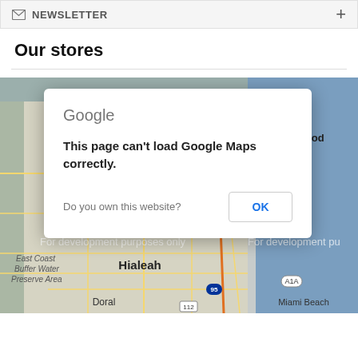NEWSLETTER
Our stores
[Figure (map): Google Maps embed showing South Florida area including Hollywood, Hialeah, Miami Lakes, Doral, Miami Beach, Pembroke Pines, with watermark 'For development purposes only'. A Google Maps error dialog overlays the map saying 'This page can't load Google Maps correctly.' with 'Do you own this website?' and an OK button.]